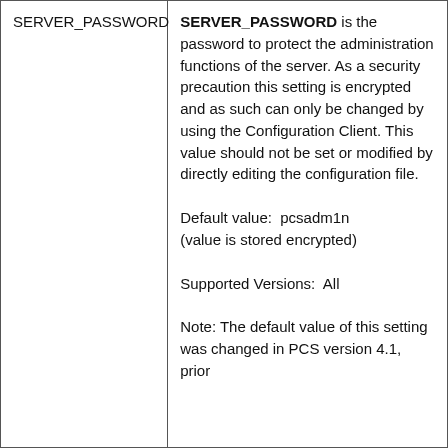| SERVER_PASSWORD | SERVER_PASSWORD is the password to protect the administration functions of the server. As a security precaution this setting is encrypted and as such can only be changed by using the Configuration Client. This value should not be set or modified by directly editing the configuration file.

Default value:  pcsadm1n
(value is stored encrypted)

Supported Versions:  All

Note: The default value of this setting was changed in PCS version 4.1, prior |